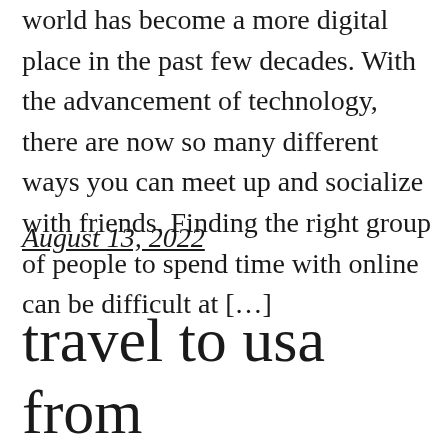world has become a more digital place in the past few decades. With the advancement of technology, there are now so many different ways you can meet up and socialize with friends. Finding the right group of people to spend time with online can be difficult at […]
August 13, 2022
travel to usa from